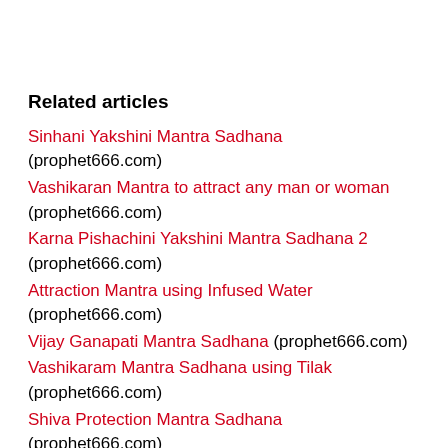Related articles
Sinhani Yakshini Mantra Sadhana (prophet666.com)
Vashikaran Mantra to attract any man or woman (prophet666.com)
Karna Pishachini Yakshini Mantra Sadhana 2 (prophet666.com)
Attraction Mantra using Infused Water (prophet666.com)
Vijay Ganapati Mantra Sadhana (prophet666.com)
Vashikaram Mantra Sadhana using Tilak (prophet666.com)
Shiva Protection Mantra Sadhana (prophet666.com)
Mantra to know sounds made by swans